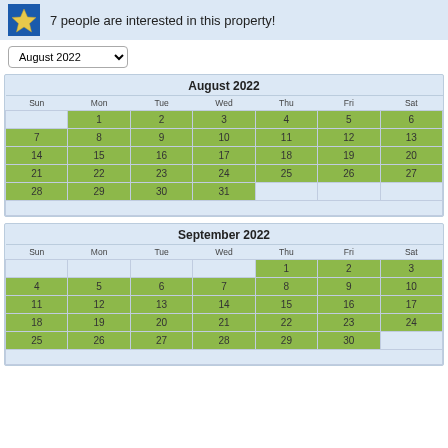7 people are interested in this property!
| Sun | Mon | Tue | Wed | Thu | Fri | Sat |
| --- | --- | --- | --- | --- | --- | --- |
|  | 1 | 2 | 3 | 4 | 5 | 6 |
| 7 | 8 | 9 | 10 | 11 | 12 | 13 |
| 14 | 15 | 16 | 17 | 18 | 19 | 20 |
| 21 | 22 | 23 | 24 | 25 | 26 | 27 |
| 28 | 29 | 30 | 31 |  |  |  |
| Sun | Mon | Tue | Wed | Thu | Fri | Sat |
| --- | --- | --- | --- | --- | --- | --- |
|  |  |  |  | 1 | 2 | 3 |
| 4 | 5 | 6 | 7 | 8 | 9 | 10 |
| 11 | 12 | 13 | 14 | 15 | 16 | 17 |
| 18 | 19 | 20 | 21 | 22 | 23 | 24 |
| 25 | 26 | 27 | 28 | 29 | 30 |  |